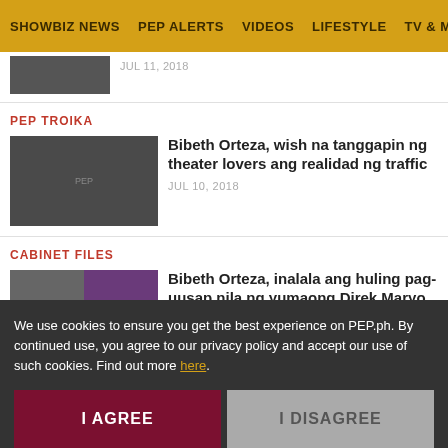SHOWBIZ NEWS | PEP ALERTS | VIDEOS | LIFESTYLE | TV & MOVIE
PEP TROIKA
Bibeth Orteza, wish na tanggapin ng theater lovers ang realidad ng traffic
JUL 10, 2018
CABINET FILES
Bibeth Orteza, inalala ang huling pag-uusap nila ng yumaong Direk Maryo J. delos Reyes
MAY 30, 2018
PEP ALERTS
We use cookies to ensure you get the best experience on PEP.ph. By continued use, you agree to our privacy policy and accept our use of such cookies. Find out more here.
I AGREE
I DISAGREE